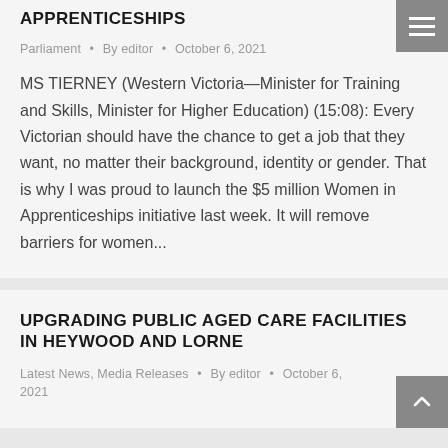APPRENTICESHIPS
Parliament • By editor • October 6, 2021
MS TIERNEY (Western Victoria—Minister for Training and Skills, Minister for Higher Education) (15:08): Every Victorian should have the chance to get a job that they want, no matter their background, identity or gender. That is why I was proud to launch the $5 million Women in Apprenticeships initiative last week. It will remove barriers for women...
UPGRADING PUBLIC AGED CARE FACILITIES IN HEYWOOD AND LORNE
Latest News, Media Releases • By editor • October 6, 2021